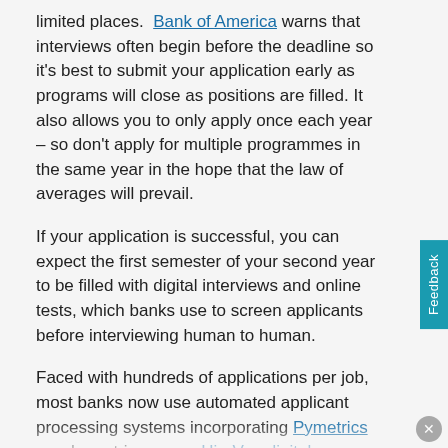limited places. Bank of America warns that interviews often begin before the deadline so it's best to submit your application early as programs will close as positions are filled. It also allows you to only apply once each year – so don't apply for multiple programmes in the same year in the hope that the law of averages will prevail.
If your application is successful, you can expect the first semester of your second year to be filled with digital interviews and online tests, which banks use to screen applicants before interviewing human to human.
Faced with hundreds of applications per job, most banks now use automated applicant processing systems incorporating Pymetrics psychometric games, HireVue digital interviews and HackerRank coding tests.
These can be daunting especially for applicants who do not come from a finance background. And those applicants may want intensive interview coaching in orde...